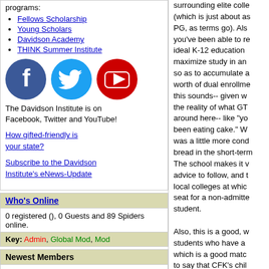programs:
Fellows Scholarship
Young Scholars
Davidson Academy
THINK Summer Institute
[Figure (logo): Facebook, Twitter, and YouTube social media icons]
The Davidson Institute is on Facebook, Twitter and YouTube!
How gifted-friendly is your state?
Subscribe to the Davidson Institute's eNews-Update
Who's Online
0 registered (), 0 Guests and 89 Spiders online.
Key: Admin, Global Mod, Mod
Newest Members
Mvdnest, Ally, Callistro, Marioasn, Tangerine
surrounding elite colle... (which is just about as PG, as terms go). Als... you've been able to re... ideal K-12 education... maximize study in an... so as to accumulate a... worth of dual enrollme... this sounds-- given w... the reality of what GT... around here-- like "yo... been eating cake." W... was a little more cond... bread in the short-term... The school makes it v... advice to follow, and t... local colleges at whic... seat for a non-admitte... student.

Also, this is a good, w... students who have a... which is a good matc... to say that CFK's chil... far from it. Just to not... kids, being an outlier... a lot more than it doe... they cope varies wildl...